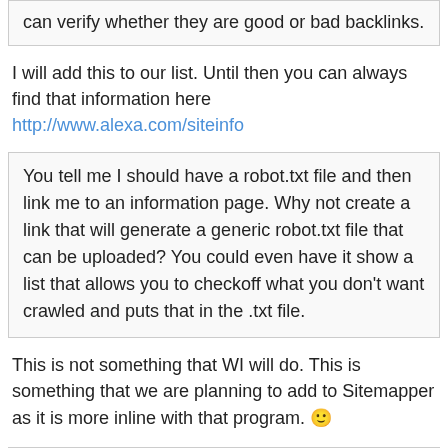can verify whether they are good or bad backlinks.
I will add this to our list. Until then you can always find that information here http://www.alexa.com/siteinfo
You tell me I should have a robot.txt file and then link me to an information page. Why not create a link that will generate a generic robot.txt file that can be uploaded? You could even have it show a list that allows you to checkoff what you don't want crawled and puts that in the .txt file.
This is not something that WI will do. This is something that we are planning to add to Sitemapper as it is more inline with that program. 🙂